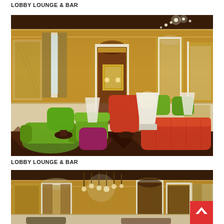LOBBY LOUNGE & BAR
[Figure (photo): Elegant hotel lobby lounge and bar with ornate golden yellow walls, decorative ceiling moldings, arched doorways and mirrors, vibrant green and red/orange velvet armchairs and sofas arranged around low tables, a checkered dark floor, and warm chandelier lighting.]
LOBBY LOUNGE & BAR
[Figure (photo): Second view of the hotel lobby lounge showing the ornate golden yellow ceiling with decorative white moldings, a chandelier with Edison-style bulbs, arched wall niches with drapes, framed artwork panels on the walls, and partial view of seating area below.]